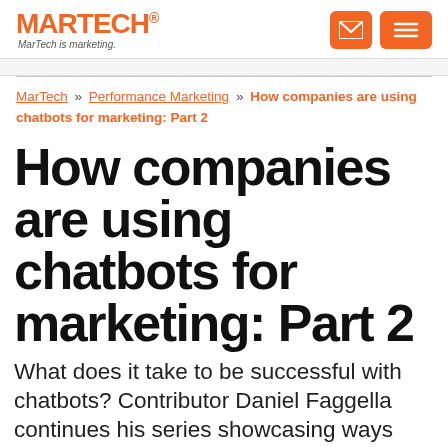MARTECH® MarTech is marketing.
MarTech » Performance Marketing » How companies are using chatbots for marketing: Part 2
How companies are using chatbots for marketing: Part 2
What does it take to be successful with chatbots? Contributor Daniel Faggella continues his series showcasing ways